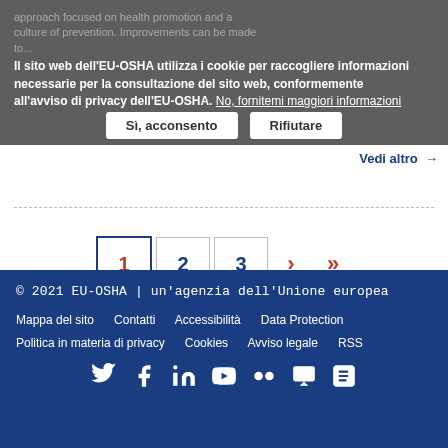approach focused on health promotion and a culture of prevention. Improvements can be made to...
Il sito web dell'EU-OSHA utilizza i cookie per raccogliere informazioni necessarie per la consultazione del sito web, conformemente all'avviso di privacy dell'EU-OSHA. No, fornitemi maggiori informazioni
Sì, acconsento | Rifiutare
Vedi altro →
1 2 3 › »
© 2021 EU-OSHA | un'agenzia dell'Unione europea
Mappa del sito  Contatti  Accessibilità  Data Protection
Politica in materia di privacy  Cookies  Avviso legale  RSS